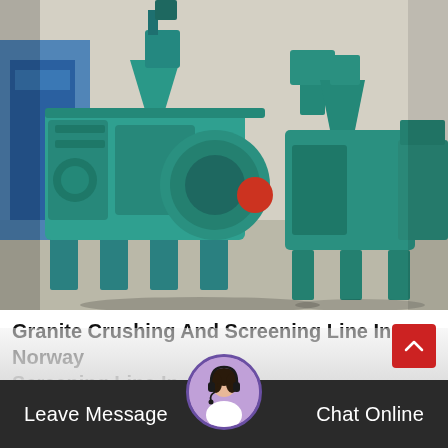[Figure (photo): Industrial teal/green painted hydraulic coal briquetting machines photographed in a factory setting. Two large machines visible in foreground and one smaller on the right background.]
Granite Crushing And Screening Line In Norway Screening Line In
Hydraulic coal and charcoal Briquetting machine 1.Hydraulic coal Briquetting machine is the main
Leave Message  Chat Online